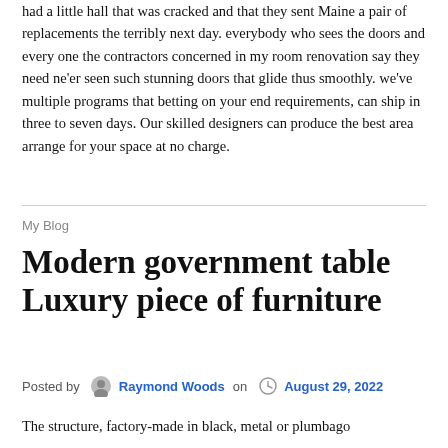had a little hall that was cracked and that they sent Maine a pair of replacements the terribly next day. everybody who sees the doors and every one the contractors concerned in my room renovation say they need ne'er seen such stunning doors that glide thus smoothly. we've multiple programs that betting on your end requirements, can ship in three to seven days. Our skilled designers can produce the best area arrange for your space at no charge.
My Blog
Modern government table Luxury piece of furniture
Posted by Raymond Woods on August 29, 2022
The structure, factory-made in black, metal or plumbago